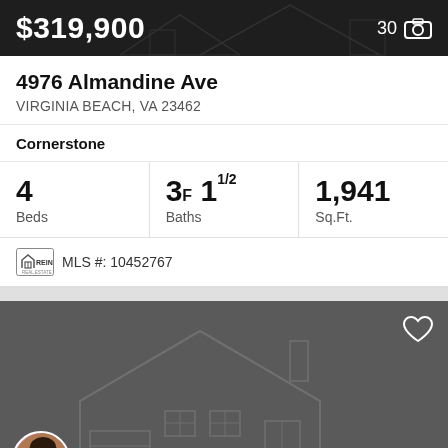$319,900
30 photos
4976 Almandine Ave
VIRGINIA BEACH, VA 23462
Cornerstone
| Beds | Baths | Sq.Ft. |
| --- | --- | --- |
| 4 | 3F 11/2 | 1,941 |
MLS #: 10452767
[Figure (screenshot): Loading Photo... placeholder with house watermark, agent avatar, and heart icon]